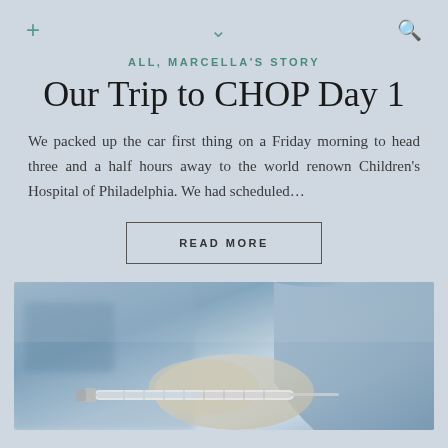+ ∨ 🔍
ALL, MARCELLA'S STORY
Our Trip to CHOP Day 1
We packed up the car first thing on a Friday morning to head three and a half hours away to the world renown Children's Hospital of Philadelphia. We had scheduled…
READ MORE
[Figure (photo): Close-up photo of a medical professional in blue scrubs and gloves holding a syringe, with medical equipment in the background]